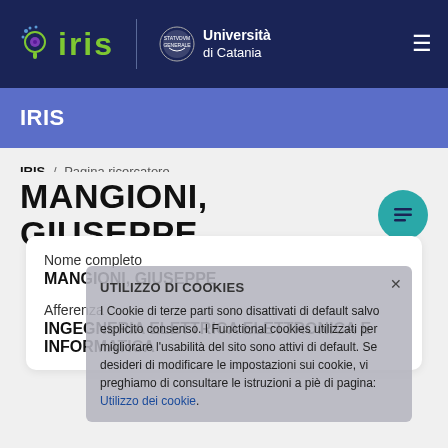[Figure (logo): IRIS logo and Università di Catania logo in dark navy navigation bar]
IRIS
IRIS / Pagina ricercatore
MANGIONI, GIUSEPPE
Nome completo
MANGIONI, GIUSEPPE
Afferenza
INGEGNERIA ELETTRICA ELETTRONICA E INFORMATICA
UTILIZZO DI COOKIES
I Cookie di terze parti sono disattivati di default salvo esplicito consenso. I Functional cookies utilizzati per migliorare l'usabilità del sito sono attivi di default. Se desideri di modificare le impostazioni sui cookie, vi preghiamo di consultare le istruzioni a piè di pagina: Utilizzo dei cookie.